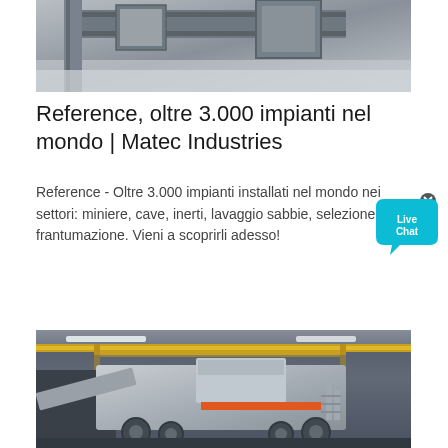[Figure (photo): Photo of industrial metal structural beams/frames in a workshop, partial top crop]
Reference, oltre 3.000 impianti nel mondo | Matec Industries
Reference - Oltre 3.000 impianti installati nel mondo nei settori: miniere, cave, inerti, lavaggio sabbie, selezione e frantumazione. Vieni a scoprirli adesso!
[Figure (other): Live Chat bubble icon in cyan/teal color with 'Live Chat' text and an X close button]
More Details
[Figure (photo): Photo of a large industrial mobile crusher/processing machine on wheels inside a factory building with yellow overhead cranes]